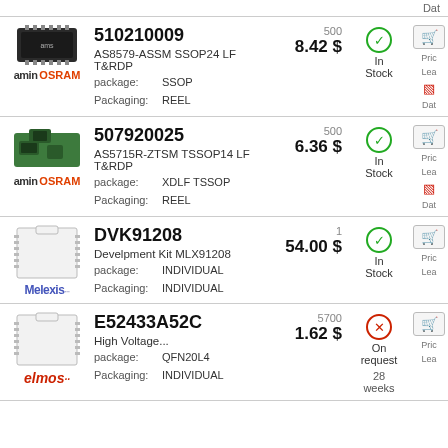Dat
510210009 | AS8579-ASSM SSOP24 LF T&RDP | package: SSOP | Packaging: REEL | 500 | 8.42 $ | In Stock
507920025 | AS5715R-ZTSM TSSOP14 LF T&RDP | package: XDLF TSSOP | Packaging: REEL | 500 | 6.36 $ | In Stock
DVK91208 | Develpment Kit MLX91208 | package: INDIVIDUAL | Packaging: INDIVIDUAL | 1 | 54.00 $ | In Stock
E52433A52C | High Voltage... | package: QFN20L4 | Packaging: INDIVIDUAL | 5700 | 1.62 $ | On request | 28 weeks